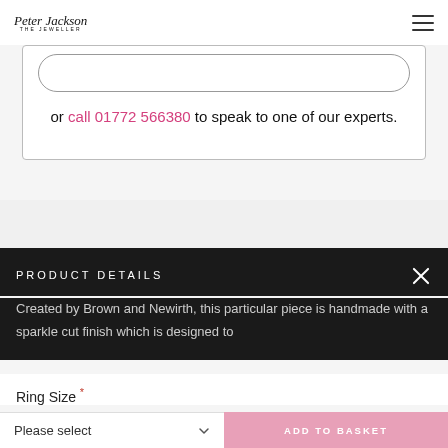Peter Jackson The Jeweller
or call 01772 566380 to speak to one of our experts.
PRODUCT DETAILS
Created by Brown and Newirth, this particular piece is handmade with a sparkle cut finish which is designed to
Ring Size *
Please select
ADD TO BASKET